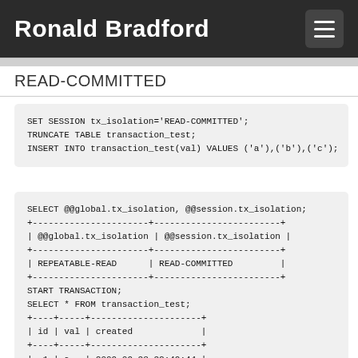Ronald Bradford
READ-COMMITTED
SET SESSION tx_isolation='READ-COMMITTED';
TRUNCATE TABLE transaction_test;
INSERT INTO transaction_test(val) VALUES ('a'),('b'),('c');
SELECT @@global.tx_isolation, @@session.tx_isolation;
+----------------------+------------------------+
| @@global.tx_isolation | @@session.tx_isolation |
+----------------------+------------------------+
| REPEATABLE-READ      | READ-COMMITTED         |
+----------------------+------------------------+
START TRANSACTION;
SELECT * FROM transaction_test;
+----+-----+---------------------+
| id | val | created             |
+----+-----+---------------------+
|  1 | a   | 2009-09-23 22:49:44 |
|  2 | b   | 2009-09-23 22:49:44 |
|  3 | c   | 2009-09-23 22:49:44 |
+----+-----+---------------------+
SELECT SLEEP(20);